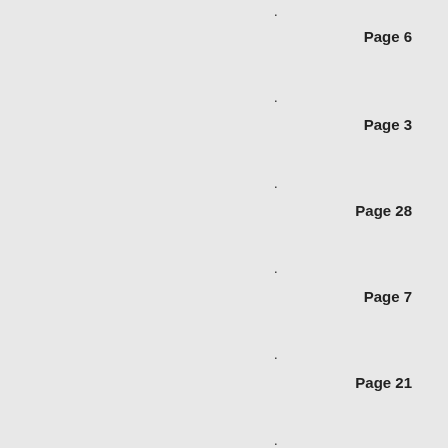.
Page 6
.
Page 3
.
Page 28
.
Page 7
.
Page 21
.
Page 7